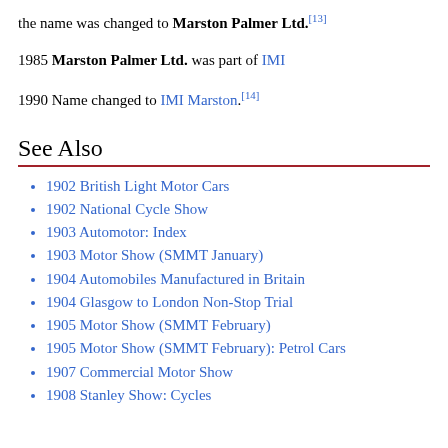the name was changed to Marston Palmer Ltd.[13]
1985 Marston Palmer Ltd. was part of IMI
1990 Name changed to IMI Marston.[14]
See Also
1902 British Light Motor Cars
1902 National Cycle Show
1903 Automotor: Index
1903 Motor Show (SMMT January)
1904 Automobiles Manufactured in Britain
1904 Glasgow to London Non-Stop Trial
1905 Motor Show (SMMT February)
1905 Motor Show (SMMT February): Petrol Cars
1907 Commercial Motor Show
1908 Stanley Show: Cycles